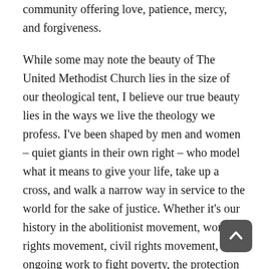community offering love, patience, mercy, and forgiveness.
While some may note the beauty of The United Methodist Church lies in the size of our theological tent, I believe our true beauty lies in the ways we live the theology we profess. I've been shaped by men and women – quiet giants in their own right – who model what it means to give your life, take up a cross, and walk a narrow way in service to the world for the sake of justice. Whether it's our history in the abolitionist movement, women's rights movement, civil rights movement, the ongoing work to fight poverty, the protection of God's creation, the fight to protect the right to life at all stages of life, the eradication of disease, or the uplifting of rights for